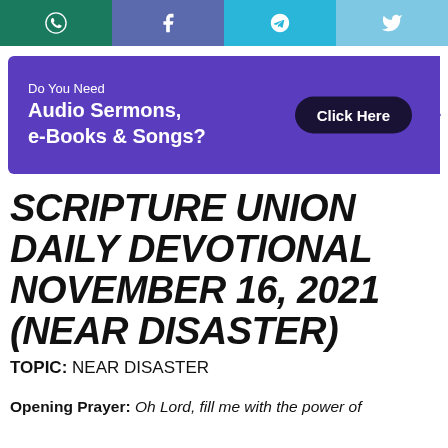[Figure (other): Social sharing buttons bar: WhatsApp (dark green), Facebook (blue-purple), Telegram (cyan), Twitter (light blue)]
[Figure (infographic): Purple banner ad with text 'Do You Need Audio Sermons, e-Books & Songs?' and a dark 'Click Here' button on the right]
SCRIPTURE UNION DAILY DEVOTIONAL NOVEMBER 16, 2021 (NEAR DISASTER)
TOPIC: NEAR DISASTER
Opening Prayer: Oh Lord, fill me with the power of